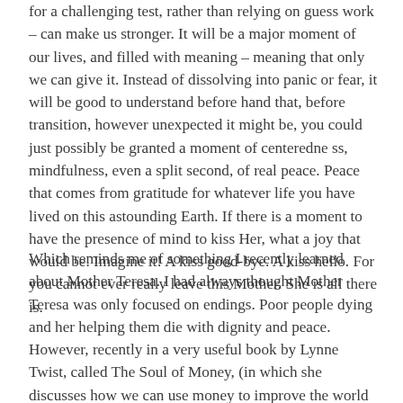for a challenging test, rather than relying on guess work – can make us stronger. It will be a major moment of our lives, and filled with meaning – meaning that only we can give it. Instead of dissolving into panic or fear, it will be good to understand before hand that, before transition, however unexpected it might be, you could just possibly be granted a moment of centeredne ss, mindfulness, even a split second, of real peace. Peace that comes from gratitude for whatever life you have lived on this astounding Earth. If there is a moment to have the presence of mind to kiss Her, what a joy that would be. Imagine it! A kiss good-bye. A kiss hello. For you cannot ever really leave this Mother. She is all there is.
Which reminds me of something I recently learned about Mother Teresa. I had always thought Mother Teresa was only focused on endings. Poor people dying and her helping them die with dignity and peace. However, recently in a very useful book by Lynne Twist, called The Soul of Money, (in which she discusses how we can use money to improve the world instead of using it as many of us do to make things worse) I discovered that at the same ashram